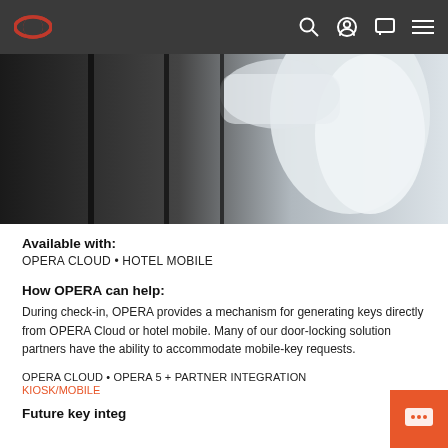Oracle (logo) navigation bar with search, account, chat, and menu icons
[Figure (photo): Hotel check-in scene showing a person in a white jacket/shirt reaching toward dark panels, partially cropped]
Available with:
OPERA CLOUD • HOTEL MOBILE
How OPERA can help:
During check-in, OPERA provides a mechanism for generating keys directly from OPERA Cloud or hotel mobile. Many of our door-locking solution partners have the ability to accommodate mobile-key requests.
OPERA CLOUD • OPERA 5 + PARTNER INTEGRATION KIOSK/MOBILE
Future key integration